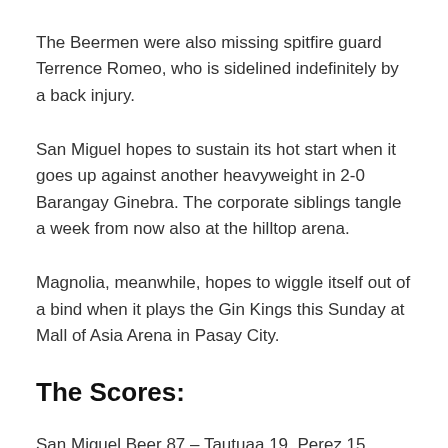The Beermen were also missing spitfire guard Terrence Romeo, who is sidelined indefinitely by a back injury.
San Miguel hopes to sustain its hot start when it goes up against another heavyweight in 2-0 Barangay Ginebra. The corporate siblings tangle a week from now also at the hilltop arena.
Magnolia, meanwhile, hopes to wiggle itself out of a bind when it plays the Gin Kings this Sunday at Mall of Asia Arena in Pasay City.
The Scores:
San Miguel Beer 87 – Tautuaa 19, Perez 15, Fajardo 14, Brondial 10, Lassiter 10, Cruz 10, Ross 6, Enciso 2, Manuel